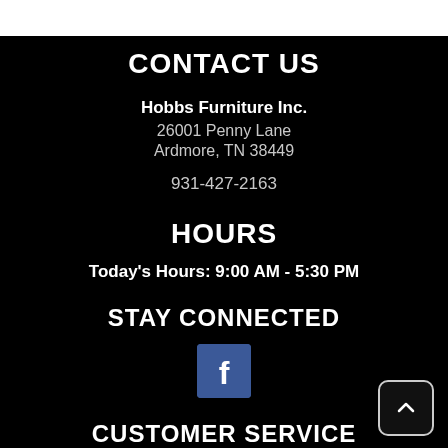CONTACT US
Hobbs Furniture Inc.
26001 Penny Lane
Ardmore, TN 38449
931-427-2163
HOURS
Today's Hours: 9:00 AM - 5:30 PM
STAY CONNECTED
[Figure (logo): Facebook logo icon — blue square with white 'f']
CUSTOMER SERVICE